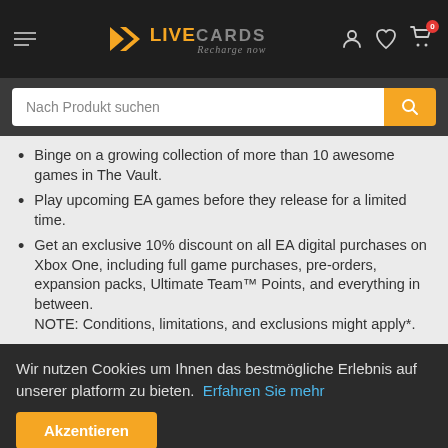LIVECARDS Recharge now
Binge on a growing collection of more than 10 awesome games in The Vault.
Play upcoming EA games before they release for a limited time.
Get an exclusive 10% discount on all EA digital purchases on Xbox One, including full game purchases, pre-orders, expansion packs, Ultimate Team™ Points, and everything in between.
NOTE: Conditions, limitations, and exclusions might apply*.
Wir nutzen Cookies um Ihnen das bestmögliche Erlebnis auf unserer platform zu bieten. Erfahren Sie mehr